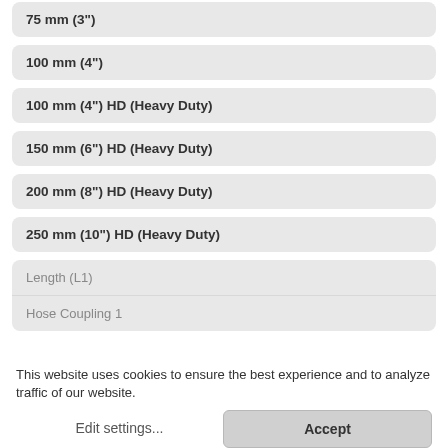75 mm (3")
100 mm (4")
100 mm (4") HD (Heavy Duty)
150 mm (6") HD (Heavy Duty)
200 mm (8") HD (Heavy Duty)
250 mm (10") HD (Heavy Duty)
Length (L1)
Hose Coupling 1
This website uses cookies to ensure the best experience and to analyze traffic of our website.
Edit settings...
Accept